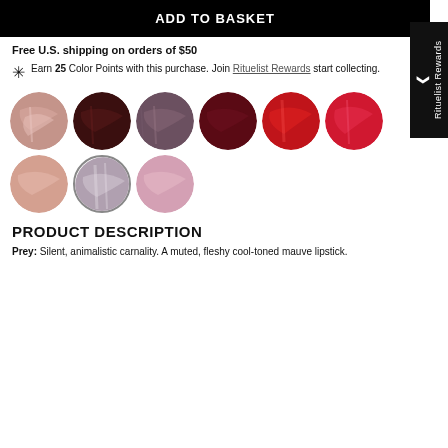ADD TO BASKET
Free U.S. shipping on orders of $50
Earn 25 Color Points with this purchase. Join Rituelist Rewards start collecting.
[Figure (illustration): Nine circular lipstick color swatches in a grid: muted pink/mauve, deep burgundy, dusty mauve-purple, dark red/wine, bright red satin, hot pink/red, peachy nude, sheer gray-pink selected, light pink]
PRODUCT DESCRIPTION
Prey: Silent, animalistic carnality. A muted, fleshy cool-toned mauve lipstick.